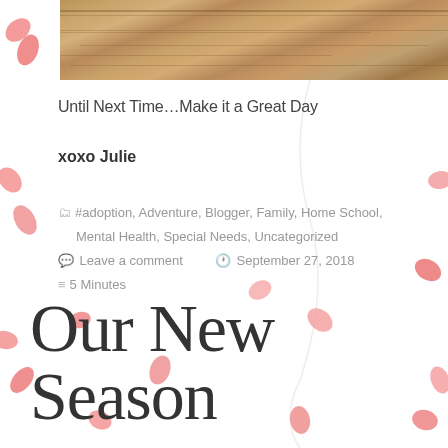[Figure (photo): Wood texture surface photo cropped at top of page]
Until Next Time…Make it a Great Day
xoxo Julie
🗂 #adoption, Adventure, Blogger, Family, Home School, Mental Health, Special Needs, Uncategorized
💬 Leave a comment   🕐 September 27, 2018
≡ 5 Minutes
Our New Season